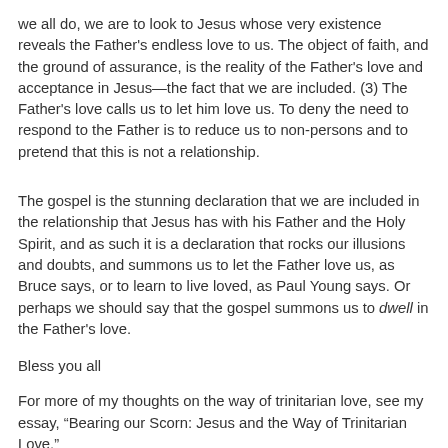we all do, we are to look to Jesus whose very existence reveals the Father's endless love to us. The object of faith, and the ground of assurance, is the reality of the Father's love and acceptance in Jesus—the fact that we are included. (3) The Father's love calls us to let him love us. To deny the need to respond to the Father is to reduce us to non-persons and to pretend that this is not a relationship.
The gospel is the stunning declaration that we are included in the relationship that Jesus has with his Father and the Holy Spirit, and as such it is a declaration that rocks our illusions and doubts, and summons us to let the Father love us, as Bruce says, or to learn to live loved, as Paul Young says. Or perhaps we should say that the gospel summons us to dwell in the Father's love.
Bless you all
For more of my thoughts on the way of trinitarian love, see my essay, “Bearing our Scorn: Jesus and the Way of Trinitarian Love.”